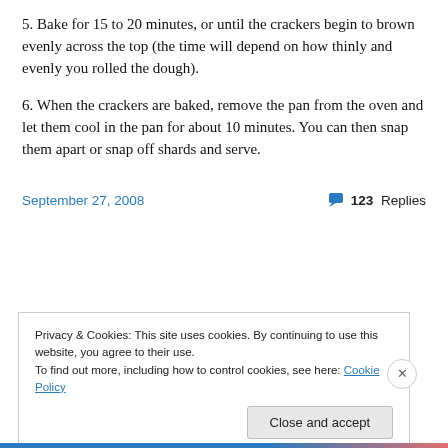5. Bake for 15 to 20 minutes, or until the crackers begin to brown evenly across the top (the time will depend on how thinly and evenly you rolled the dough).
6. When the crackers are baked, remove the pan from the oven and let them cool in the pan for about 10 minutes. You can then snap them apart or snap off shards and serve.
September 27, 2008 | 💬 123 Replies
Privacy & Cookies: This site uses cookies. By continuing to use this website, you agree to their use.
To find out more, including how to control cookies, see here: Cookie Policy
Close and accept